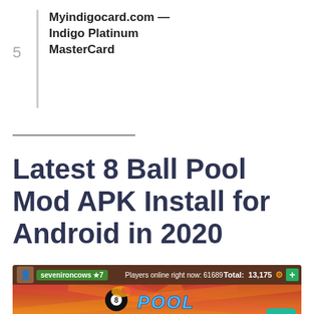5
Myindigocard.com — Indigo Platinum MasterCard
Latest 8 Ball Pool Mod APK Install for Android in 2020
[Figure (screenshot): Screenshot of the 8 Ball Pool mobile game showing the main menu with username 'sevenironcows', player level 7, players online count 61689, total coins 13,175, and the 8 Ball Pool logo with flames]